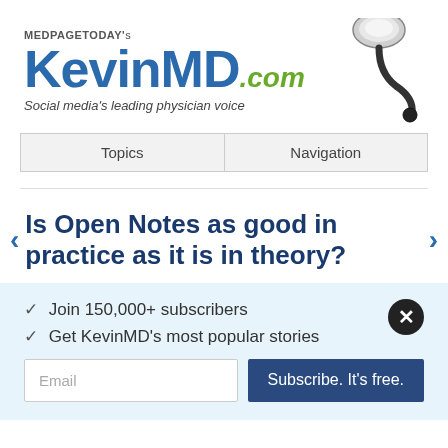[Figure (logo): MedPageToday's KevinMD.com logo with stethoscope image and tagline 'Social media's leading physician voice']
| Topics | Navigation |
| --- | --- |
Is Open Notes as good in practice as it is in theory?
✓  Join 150,000+ subscribers
✓  Get KevinMD's most popular stories
Email  |  Subscribe. It's free.